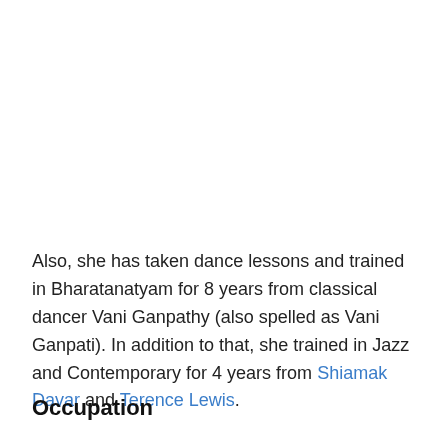Also, she has taken dance lessons and trained in Bharatanatyam for 8 years from classical dancer Vani Ganpathy (also spelled as Vani Ganpati). In addition to that, she trained in Jazz and Contemporary for 4 years from Shiamak Davar and Terence Lewis.
Occupation